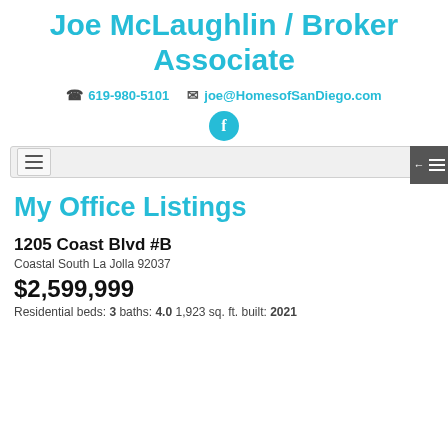Joe McLaughlin / Broker Associate
619-980-5101   joe@HomesofSanDiego.com
[Figure (logo): Facebook circular icon in cyan/teal color]
[Figure (screenshot): Navigation bar with hamburger menu button and sidebar toggle button]
My Office Listings
1205 Coast Blvd #B
Coastal South La Jolla 92037
$2,599,999
Residential beds: 3 baths: 4.0 1,923 sq. ft. built: 2021